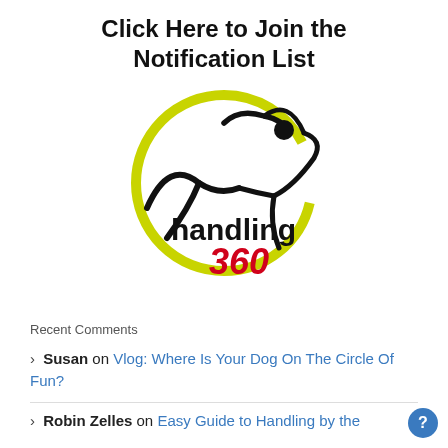Click Here to Join the Notification List
[Figure (logo): Handling 360 logo — a yellow-green circular arc with a stylized human figure leaping above it, and the text 'handling 360' where '360' is in red]
Recent Comments
Susan on Vlog: Where Is Your Dog On The Circle Of Fun?
Robin Zelles on Easy Guide to Handling by the